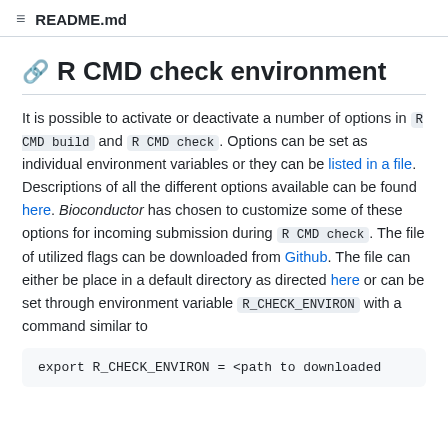README.md
R CMD check environment
It is possible to activate or deactivate a number of options in R CMD build and R CMD check. Options can be set as individual environment variables or they can be listed in a file. Descriptions of all the different options available can be found here. Bioconductor has chosen to customize some of these options for incoming submission during R CMD check. The file of utilized flags can be downloaded from Github. The file can either be place in a default directory as directed here or can be set through environment variable R_CHECK_ENVIRON with a command similar to
export R_CHECK_ENVIRON = <path to downloaded